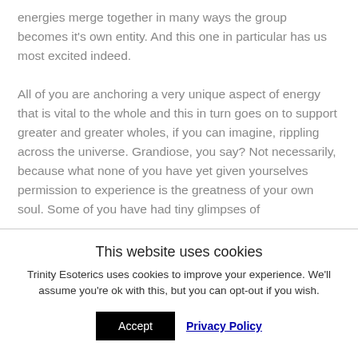energies merge together in many ways the group becomes it's own entity. And this one in particular has us most excited indeed.

All of you are anchoring a very unique aspect of energy that is vital to the whole and this in turn goes on to support greater and greater wholes, if you can imagine, rippling across the universe. Grandiose, you say? Not necessarily, because what none of you have yet given yourselves permission to experience is the greatness of your own soul. Some of you have had tiny glimpses of
This website uses cookies
Trinity Esoterics uses cookies to improve your experience. We'll assume you're ok with this, but you can opt-out if you wish.
Accept  Privacy Policy